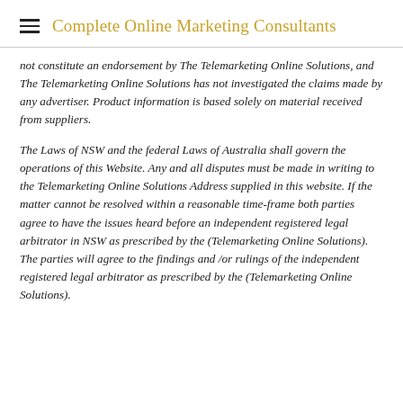Complete Online Marketing Consultants
not constitute an endorsement by The Telemarketing Online Solutions, and The Telemarketing Online Solutions has not investigated the claims made by any advertiser. Product information is based solely on material received from suppliers.
The Laws of NSW and the federal Laws of Australia shall govern the operations of this Website. Any and all disputes must be made in writing to the Telemarketing Online Solutions Address supplied in this website. If the matter cannot be resolved within a reasonable time-frame both parties agree to have the issues heard before an independent registered legal arbitrator in NSW as prescribed by the (Telemarketing Online Solutions). The parties will agree to the findings and /or rulings of the independent registered legal arbitrator as prescribed by the (Telemarketing Online Solutions).